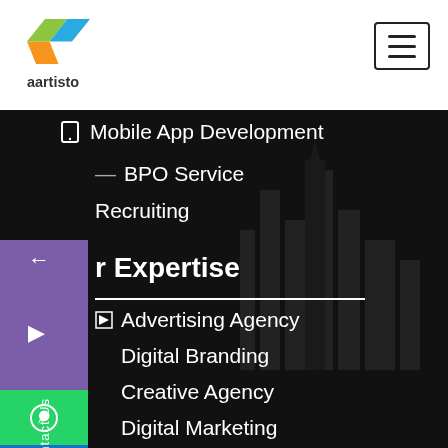[Figure (logo): Aartisto logo with colored arrow shapes (green, blue, orange) and the text 'aartisto' below]
Mobile App Development
BPO Service
Recruiting
r Expertise
Advertising Agency
Digital Branding
Creative Agency
Digital Marketing
- Web Designing
- Content Writing
- Online Reputation Management